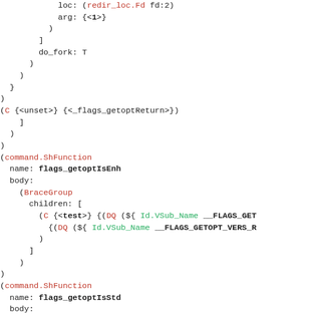Code listing showing ShFunction AST nodes with flags_getoptIsEnh and flags_getoptIsStd